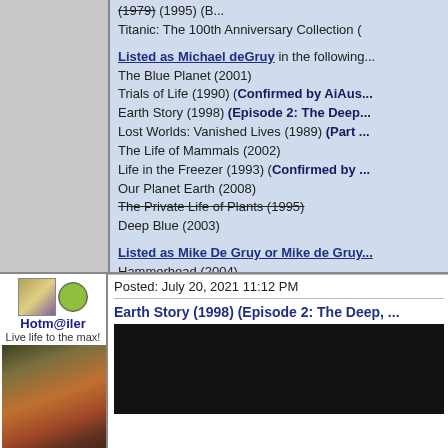The Private Life of Plants (1979) (1995) (B...
Titanic: The 100th Anniversary Collection (
Listed as Michael deGruy in the following:
The Blue Planet (2001)
Trials of Life (1990) (Confirmed by AiAus...)
Earth Story (1998) (Episode 2: The Deep...)
Lost Worlds: Vanished Lives (1989) (Part ...)
The Life of Mammals (2002)
Life in the Freezer (1993) (Confirmed by ...)
Our Planet Earth (2008)
The Private Life of Plants (1995) [strikethrough]
Deep Blue (2003)
Listed as Mike De Gruy or Mike de Gruy...
Hammerhead (2004)
Life in the Freezer (1993) (Confirmed by ...)
Predators (2000)
DVD Profiler for iOS since: January 9, 2011 (no lo...
DVD Profiler for Android since: June 6, 2013
Last edited: July 22, 2021 2:57 PM by Hotm@iler
Hotm@iler
Live life to the max!
Posted: July 20, 2021 11:12 PM
Earth Story (1998) (Episode 2: The Deep, ...